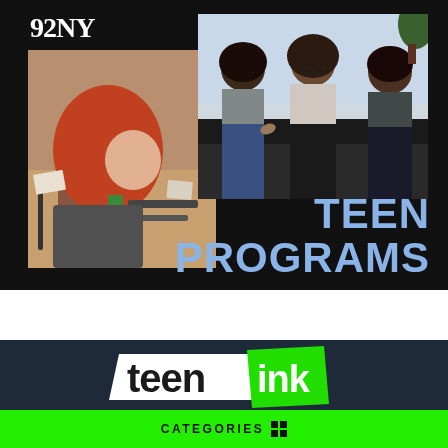[Figure (infographic): 92NY Teen Programs promotional banner with black background, two photos (craft workshop and teens on couch), and large blue 'TEEN PROGRAMS' text]
[Figure (logo): Teen Ink logo on dark blue background with white and green parallelogram shapes]
CATEGORIES